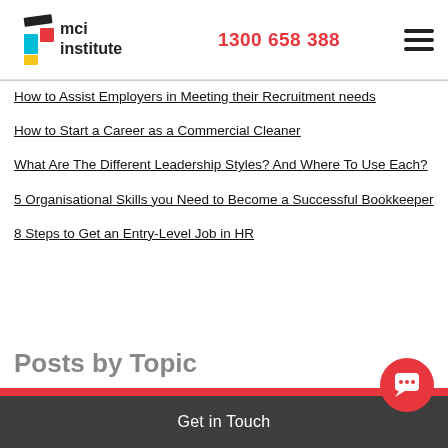[Figure (logo): MCI Institute logo with coloured blocks (black, cyan, red, yellow) and text 'mci institute']
1300 658 388
How to Assist Employers in Meeting their Recruitment needs
How to Start a Career as a Commercial Cleaner
What Are The Different Leadership Styles? And Where To Use Each?
5 Organisational Skills you Need to Become a Successful Bookkeeper
8 Steps to Get an Entry-Level Job in HR
Posts by Topic
online course australia (39)
Get in Touch